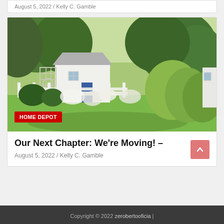August 5, 2022 / Kelly C. Gamble
[Figure (photo): Outdoor garden scene with a white cottage/shed, blue door, white fence, lush green trees and ornamental grasses, flowering shrubs, and a grass lawn pathway. A red 'HOME DEPOT' badge overlays the lower-left corner.]
Our Next Chapter: We're Moving! –
August 5, 2022 / Kelly C. Gamble
Copyright © 2022 zerobertooficia |